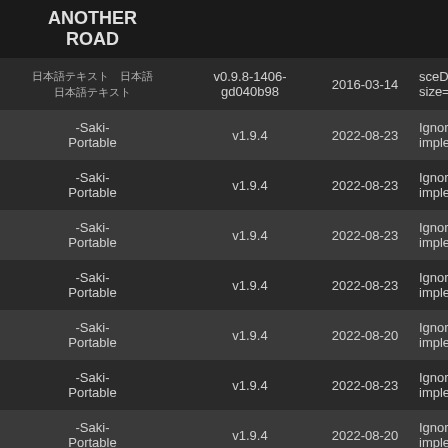| Name | Version | Date | Info |
| --- | --- | --- | --- |
| ANOTHER ROAD |  |  |  |
| 日本語テキスト 日本語 日本語テキスト | v0.9.8-1406-gd040b98 | 2016-03-14 | sceDmacMe size=55705 |
| -Saki-Portable | v1.9.4 | 2022-08-23 | Ignoring fu implemente |
| -Saki-Portable | v1.9.4 | 2022-08-23 | Ignoring fu implemente |
| -Saki-Portable | v1.9.4 | 2022-08-23 | Ignoring fu implemente |
| -Saki-Portable | v1.9.4 | 2022-08-23 | Ignoring fu implemente |
| -Saki-Portable | v1.9.4 | 2022-08-20 | Ignoring fu implemente |
| -Saki-Portable | v1.9.4 | 2022-08-23 | Ignoring fu implemente |
| -Saki-Portable | v1.9.4 | 2022-08-20 | Ignoring fu implemente |
| -Saki- | v1.9.4 | 2022-08-23 | Ignoring fu |